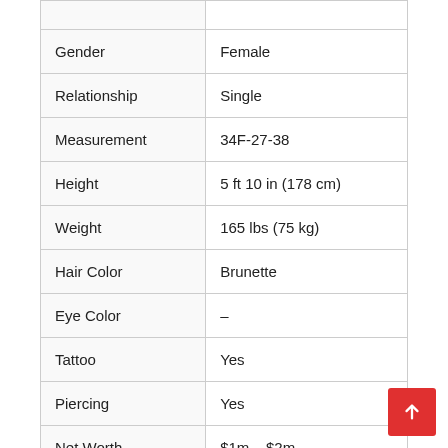| Attribute | Value |
| --- | --- |
| Gender | Female |
| Relationship | Single |
| Measurement | 34F-27-38 |
| Height | 5 ft 10 in (178 cm) |
| Weight | 165 lbs (75 kg) |
| Hair Color | Brunette |
| Eye Color | – |
| Tattoo | Yes |
| Piercing | Yes |
| Net Worth | $1m – $2m |